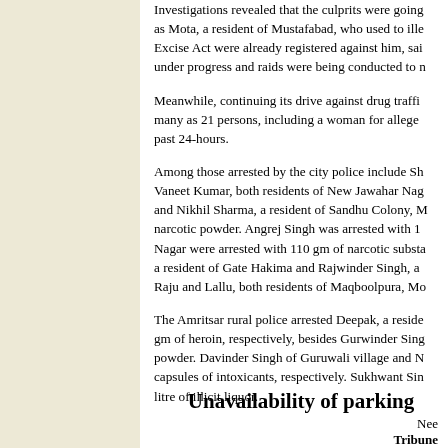Investigations revealed that the culprits were going by the name as Mota, a resident of Mustafabad, who used to ille... Excise Act were already registered against him, said... under progress and raids were being conducted to n...
Meanwhile, continuing its drive against drug traffi... many as 21 persons, including a woman for alleged... past 24-hours.
Among those arrested by the city police include Sh... Vaneet Kumar, both residents of New Jawahar Nag... and Nikhil Sharma, a resident of Sandhu Colony, M... narcotic powder. Angrej Singh was arrested with 1... Nagar were arrested with 110 gm of narcotic substa... a resident of Gate Hakima and Rajwinder Singh, a... Raju and Lallu, both residents of Maqboolpura, Mo...
The Amritsar rural police arrested Deepak, a reside... gm of heroin, respectively, besides Gurwinder Sing... powder. Davinder Singh of Guruwali village and N... capsules of intoxicants, respectively. Sukhwant Sin... litre of illicit liquor.
Unavailability of parking
Nee...
Tribune